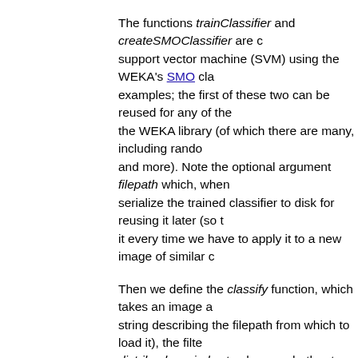The functions trainClassifier and createSMOClassifier are c... support vector machine (SVM) using the WEKA's SMO cla... examples; the first of these two can be reused for any of the ... the WEKA library (of which there are many, including rando... and more). Note the optional argument filepath which, when... serialize the trained classifier to disk for reusing it later (so t... it every time we have to apply it to a new image of similar c...
Then we define the classify function, which takes an image a... string describing the filepath from which to load it), the filte... distrib_class_index to choose whether to get a result image v... classified class index for that pixel, or the floating-point valu... specific class index (useful for e.g. later applying your own t... as graph cut from Lou et al. 2012).
Finally, we use these generic functions: we generate filter ba... training and test images, create and train the SMO classifier,... classify the blobs image. The result, considering how little tr... filters, and that it was synthetic to begin with, is spectacularl... particular "blobs.gif" sample image could have similarly hav... plain threshold, i.e. was not a challenging example. Yet, com... convolution and then attempting to combine the detections (s... room to grow towards accommodating far more diverse and ... data.